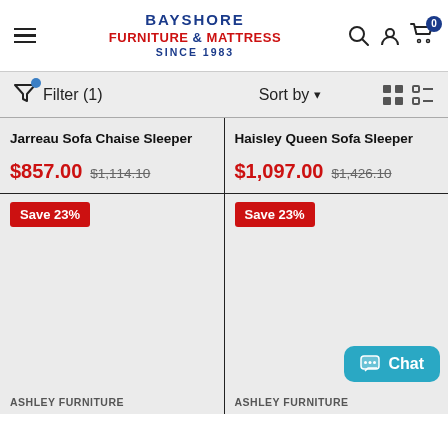BAYSHORE FURNITURE & MATTRESS SINCE 1983
Filter (1)  Sort by  [grid view] [list view]
Jarreau Sofa Chaise Sleeper
$857.00  $1,114.10
Save 23%
Haisley Queen Sofa Sleeper
$1,097.00  $1,426.10
Save 23%
ASHLEY FURNITURE
ASHLEY FURNITURE
Chat